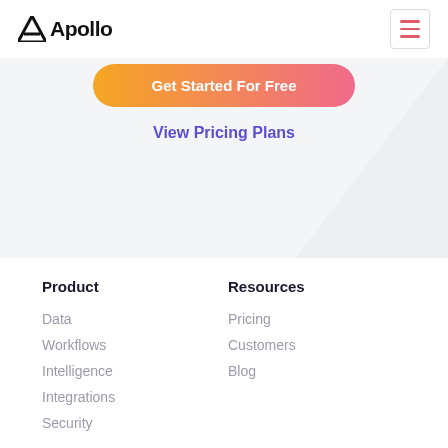Apollo
Get Started For Free
View Pricing Plans
Product
Data
Workflows
Intelligence
Integrations
Security
Resources
Pricing
Customers
Blog